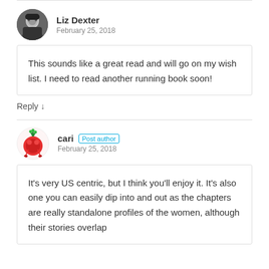Liz Dexter
February 25, 2018
This sounds like a great read and will go on my wish list. I need to read another running book soon!
Reply ↓
cari Post author
February 25, 2018
It’s very US centric, but I think you’ll enjoy it. It’s also one you can easily dip into and out as the chapters are really standalone profiles of the women, although their stories overlap